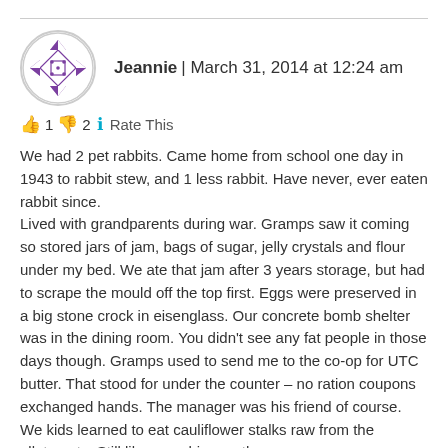Jeannie | March 31, 2014 at 12:24 am
👍 1 👎 2 ℹ Rate This
We had 2 pet rabbits. Came home from school one day in 1943 to rabbit stew, and 1 less rabbit. Have never, ever eaten rabbit since. Lived with grandparents during war. Gramps saw it coming so stored jars of jam, bags of sugar, jelly crystals and flour under my bed. We ate that jam after 3 years storage, but had to scrape the mould off the top first. Eggs were preserved in a big stone crock in eisenglass. Our concrete bomb shelter was in the dining room. You didn't see any fat people in those days though. Gramps used to send me to the co-op for UTC butter. That stood for under the counter – no ration coupons exchanged hands. The manager was his friend of course. We kids learned to eat cauliflower stalks raw from the allotments. Still like munching on them.